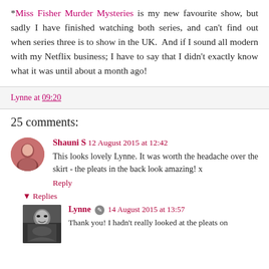*Miss Fisher Murder Mysteries is my new favourite show, but sadly I have finished watching both series, and can't find out when series three is to show in the UK.  And if I sound all modern with my Netflix business; I have to say that I didn't exactly know what it was until about a month ago!
Lynne at 09:20
25 comments:
Shauni S 12 August 2015 at 12:42
This looks lovely Lynne. It was worth the headache over the skirt - the pleats in the back look amazing! x
Reply
Replies
Lynne 14 August 2015 at 13:57
Thank you! I hadn't really looked at the pleats on